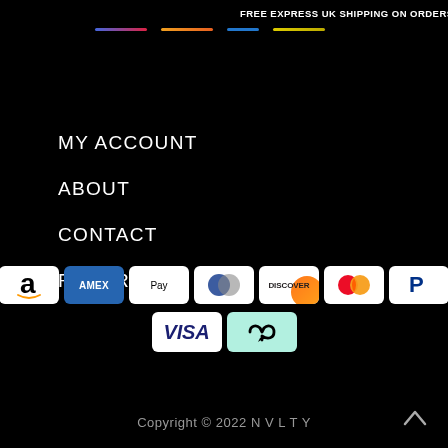FREE EXPRESS UK SHIPPING ON ORDERS OVER
[Figure (illustration): Horizontal colored lines representing brand/logo ticker decoration]
MY ACCOUNT
ABOUT
CONTACT
RETURNS
[Figure (logo): Payment method icons: Amazon, Amex, Apple Pay, Diners Club, Discover, Mastercard, PayPal, Visa, Afterpay]
Copyright © 2022 N V L T Y